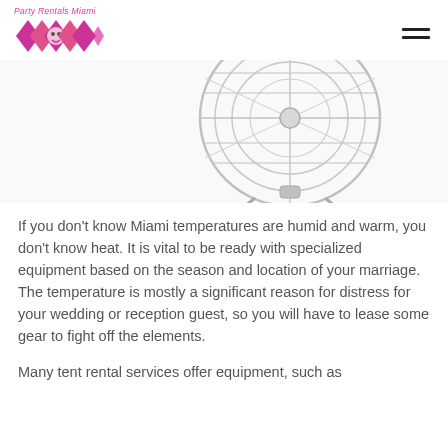Party Rentals Miami
[Figure (photo): Partial view of a silver/chrome industrial fan against a white background, showing the fan guard grille and stand legs from a top-angled perspective.]
If you don’t know Miami temperatures are humid and warm, you don’t know heat. It is vital to be ready with specialized equipment based on the season and location of your marriage. The temperature is mostly a significant reason for distress for your wedding or reception guest, so you will have to lease some gear to fight off the elements.
Many tent rental services offer equipment, such as